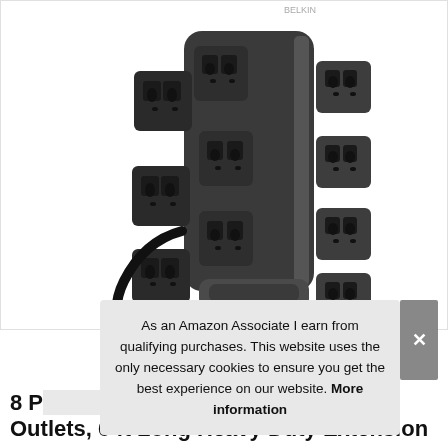[Figure (photo): A dark grey/black surge protector power strip with multiple rotating outlets shown standing vertically. It has 8+ outlets on pivoting heads on the sides and top, a black power cord with a 3-prong plug hanging from the left, and two coaxial connectors at the bottom. The base has a carrying handle. A faint brand label is visible at top.]
As an Amazon Associate I earn from qualifying purchases. This website uses the only necessary cookies to ensure you get the best experience on our website. More information
8 P... Outlets, 6 ft Long Heavy Duty Extension